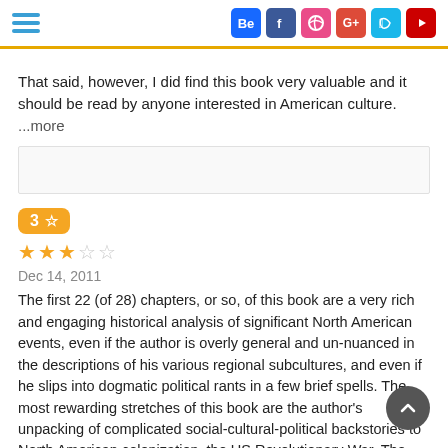Social media icons: Behance, Facebook, Dribbble, Google+, Vine, YouTube
That said, however, I did find this book very valuable and it should be read by anyone interested in American culture. ...more
3 ★ | Dec 14, 2011
The first 22 (of 28) chapters, or so, of this book are a very rich and engaging historical analysis of significant North American events, even if the author is overly general and un-nuanced in the descriptions of his various regional subcultures, and even if he slips into dogmatic political rants in a few brief spells. The most rewarding stretches of this book are the author's unpacking of complicated social-cultural-political backstories to North American colonization, the US Revolutionary War, The first 22 (of 28) chapters, or so, of this book are a very rich and engaging historical analysis of significant North American events, even if the author is overly general and un-nuanced in the descriptions of his various regional subcultures, and even if he